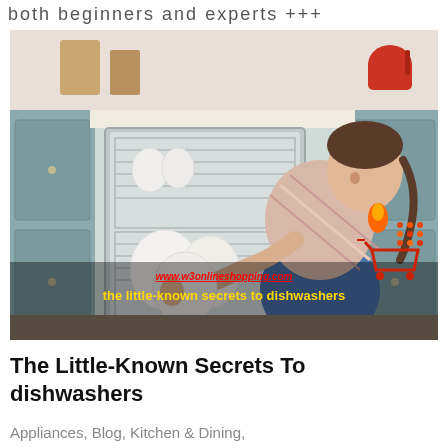both beginners and experts +++
[Figure (photo): Woman loading dishes into a dishwasher in a kitchen with blue cabinets. Overlay text reads www.w3onlineshopping.com and 'the little-known secrets to dishwashers' in yellow bold text, with a shopping cart logo.]
The Little-Known Secrets To dishwashers
Appliances, Blog, Kitchen & Dining,